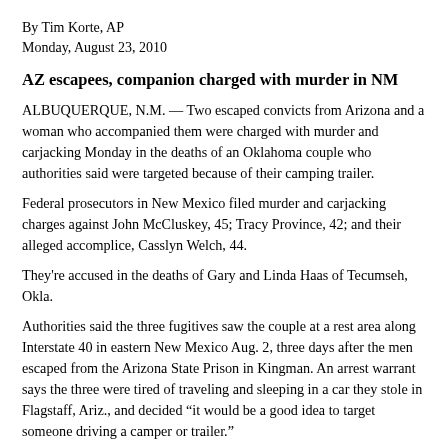By Tim Korte, AP
Monday, August 23, 2010
AZ escapees, companion charged with murder in NM
ALBUQUERQUE, N.M. — Two escaped convicts from Arizona and a woman who accompanied them were charged with murder and carjacking Monday in the deaths of an Oklahoma couple who authorities said were targeted because of their camping trailer.
Federal prosecutors in New Mexico filed murder and carjacking charges against John McCluskey, 45; Tracy Province, 42; and their alleged accomplice, Casslyn Welch, 44.
They're accused in the deaths of Gary and Linda Haas of Tecumseh, Okla.
Authorities said the three fugitives saw the couple at a rest area along Interstate 40 in eastern New Mexico Aug. 2, three days after the men escaped from the Arizona State Prison in Kingman. An arrest warrant says the three were tired of traveling and sleeping in a car they stole in Flagstaff, Ariz., and decided “it would be a good idea to target someone driving a camper or trailer.”
Prosecutors say McCluskey shot and killed the couple inside their